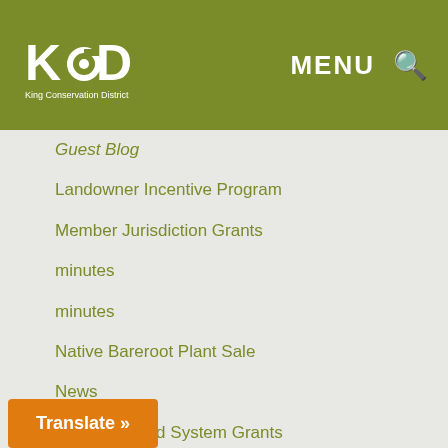[Figure (logo): King Conservation District logo - white KCD letters with swirl on olive green background]
Guest Blog
Landowner Incentive Program
Member Jurisdiction Grants
minutes
minutes
Native Bareroot Plant Sale
News
Regional Food System Grants
Regional Food System Program
regular-agenda
Report
resolution
Riparian Restoration
Seattle Community Partnership Grants
Soil Nutrient Testing
Translate »